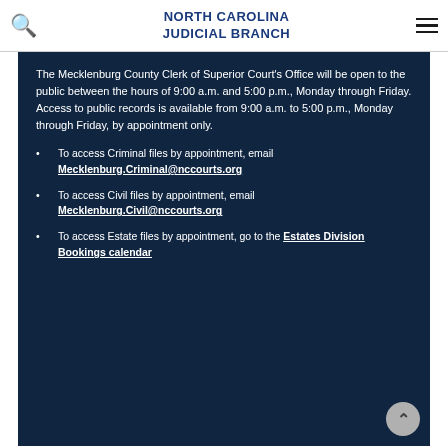NORTH CAROLINA JUDICIAL BRANCH
The Mecklenburg County Clerk of Superior Court's Office will be open to the public between the hours of 9:00 a.m. and 5:00 p.m., Monday through Friday. Access to public records is available from 9:00 a.m. to 5:00 p.m., Monday through Friday, by appointment only.
To access Criminal files by appointment, email Mecklenburg.Criminal@nccourts.org
To access Civil files by appointment, email Mecklenburg.Civil@nccourts.org
To access Estate files by appointment, go to the Estates Division Bookings calendar